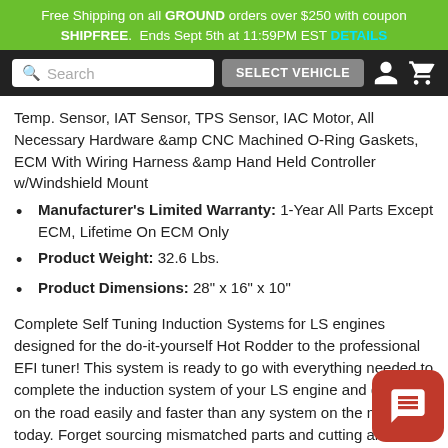Free Shipping on all GROUND orders over $250 with coupon SHIPFREE. Ends Sept 5th at 11:59PM EST DETAILS
Temp. Sensor, IAT Sensor, TPS Sensor, IAC Motor, All Necessary Hardware &amp CNC Machined O-Ring Gaskets, ECM With Wiring Harness &amp Hand Held Controller w/Windshield Mount
Manufacturer's Limited Warranty: 1-Year All Parts Except ECM, Lifetime On ECM Only
Product Weight: 32.6 Lbs.
Product Dimensions: 28" x 16" x 10"
Complete Self Tuning Induction Systems for LS engines designed for the do-it-yourself Hot Rodder to the professional EFI tuner! This system is ready to go with everything needed to complete the induction system of your LS engine and get you on the road easily and faster than any system on the market today. Forget sourcing mismatched parts and cutting and splicing old harnesses and flashed ECU's from “Craigs List” tuners. FiTech's Ultimate EFI is a complete Kit. Suitable for that junkyard 5.3 to a stroker 427, we have you covered! Check out the list of features and you will understand